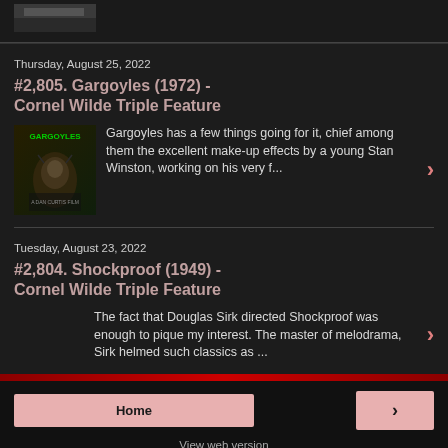[Figure (photo): Small thumbnail image at the top, partially visible]
Thursday, August 25, 2022
#2,805. Gargoyles (1972) - Cornel Wilde Triple Feature
[Figure (photo): Gargoyles movie poster thumbnail with green text title]
Gargoyles has a few things going for it, chief among them the excellent make-up effects by a young Stan Winston, working on his very f...
Tuesday, August 23, 2022
#2,804. Shockproof (1949) - Cornel Wilde Triple Feature
The fact that Douglas Sirk directed Shockproof was enough to pique my interest. The master of melodrama, Sirk helmed such classics as ...
Home
View web version